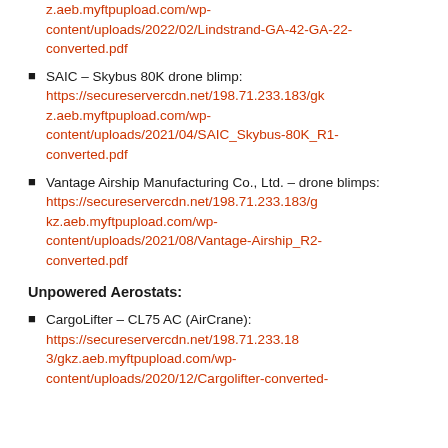z.aeb.myftpupload.com/wp-content/uploads/2022/02/Lindstrand-GA-42-GA-22-converted.pdf (link)
SAIC – Skybus 80K drone blimp: https://secureservercdn.net/198.71.233.183/gkz.aeb.myftpupload.com/wp-content/uploads/2021/04/SAIC_Skybus-80K_R1-converted.pdf
Vantage Airship Manufacturing Co., Ltd. – drone blimps: https://secureservercdn.net/198.71.233.183/gkz.aeb.myftpupload.com/wp-content/uploads/2021/08/Vantage-Airship_R2-converted.pdf
Unpowered Aerostats:
CargoLifter – CL75 AC (AirCrane): https://secureservercdn.net/198.71.233.183/gkz.aeb.myftpupload.com/wp-content/uploads/2020/12/Cargolifter-converted-